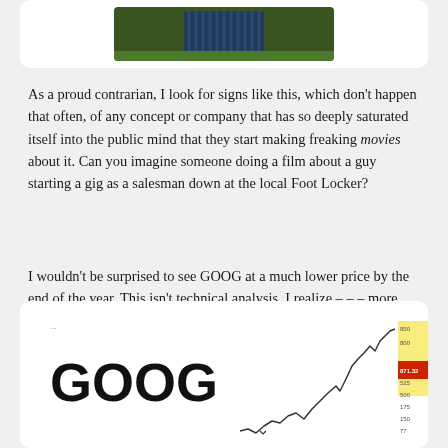[Figure (photo): Partial photo of a person, likely cropped from above, dark clothing, outdoor setting]
As a proud contrarian, I look for signs like this, which don't happen that often, of any concept or company that has so deeply saturated itself into the public mind that they start making freaking movies about it. Can you imagine someone doing a film about a guy starting a gig as a salesman down at the local Foot Locker?
I wouldn't be surprised to see GOOG at a much lower price by the end of the year. This isn't technical analysis, I realize – – – more like cultural analysis.
[Figure (screenshot): GOOG stock chart screenshot showing ticker symbol GOOG in large bold text on the left and a line chart on the right with an upward trend and price labels on the right axis]